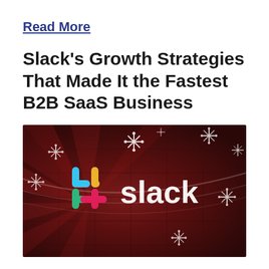Read More
Slack's Growth Strategies That Made It the Fastest B2B SaaS Business
[Figure (photo): Promotional image of Slack logo on a dark red/maroon background with decorative snowflake/flower patterns and light beam effects. The Slack hashtag logo in teal, green, yellow, and pink colors appears on the left, followed by the word 'slack' in large white text.]